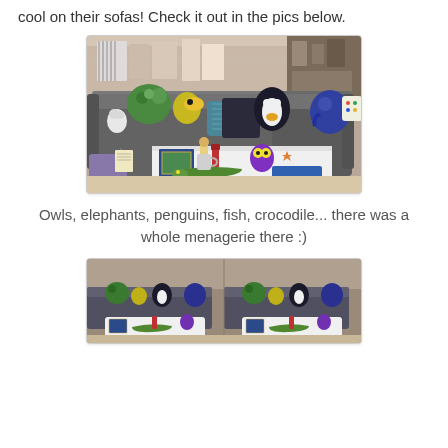cool on their sofas! Check it out in the pics below.
[Figure (photo): A gray sectional sofa in a furniture store, decorated with colorful animal-themed stuffed toys and pillows including owls, elephants, penguins, fish. A white coffee table in front holds more plush toys including a crocodile, an owl, and other items, plus artwork and decorative objects. Store shelving visible in the background.]
Owls, elephants, penguins, fish, crocodile... there was a whole menagerie there :)
[Figure (photo): A wider shot of the same furniture store display showing the gray sectional sofa with colorful animal stuffed toys, duplicated/mirrored view showing two similar setups side by side with white coffee tables and plush animals.]